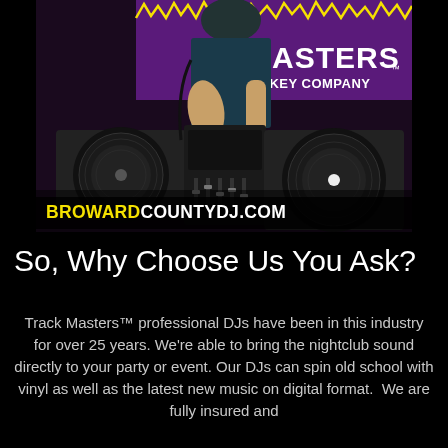[Figure (photo): A DJ operating turntables and a mixer. In the background, text reads 'MASTERS DISC JOCKEY COMPANY' on a purple banner. The DJ is wearing a dark blue t-shirt. Two vinyl record turntables are visible on either side of a central mixing board.]
BROWARDCOUNTYDJ.COM
So, Why Choose Us You Ask?
Track Masters™ professional DJs have been in this industry for over 25 years. We're able to bring the nightclub sound directly to your party or event. Our DJs can spin old school with vinyl as well as the latest new music on digital format.  We are fully insured and